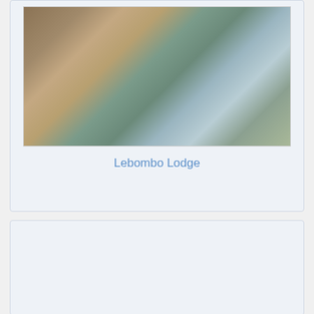[Figure (photo): Outdoor deck area of Lebombo Lodge with wooden decking, lounge furniture with light gray cushions, a large tree, and a swimming pool in the background with umbrellas]
Lebombo Lodge
[Figure (photo): Broken/missing image placeholder for 'Our suite']
Our suite